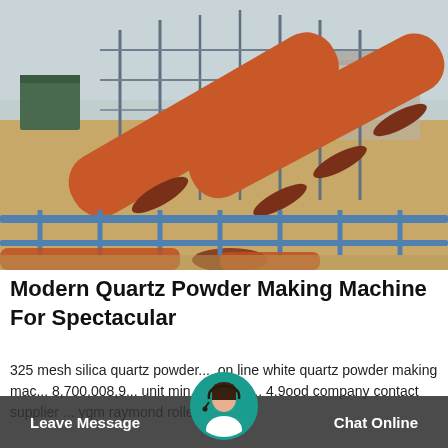[Figure (photo): Aerial/elevated view of an industrial mineral processing plant with large orange rotary kilns/pipes, metal scaffolding and framework, sandy arid terrain in background, blue sky overhead.]
Modern Quartz Powder Making Machine For Spectacular
325 mesh silica quartz powder ... on line white quartz powder making mac... 8,700,008,9... unit min. ... suppli... 4.9ood company contact supplier ... yqm raymond roller mill
Leave Message   Chat Online